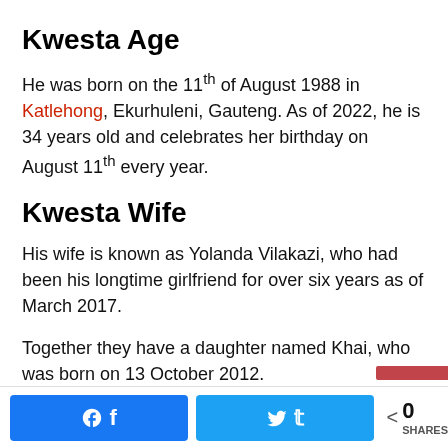Kwesta Age
He was born on the 11th of August 1988 in Katlehong, Ekurhuleni, Gauteng. As of 2022, he is 34 years old and celebrates her birthday on August 11th every year.
Kwesta Wife
His wife is known as Yolanda Vilakazi, who had been his longtime girlfriend for over six years as of March 2017.
Together they have a daughter named Khai, who was born on 13 October 2012.
Facebook share button, Twitter share button, 0 SHARES